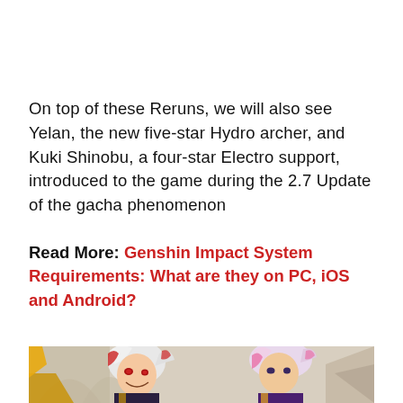On top of these Reruns, we will also see Yelan, the new five-star Hydro archer, and Kuki Shinobu, a four-star Electro support, introduced to the game during the 2.7 Update of the gacha phenomenon
Read More: Genshin Impact System Requirements: What are they on PC, iOS and Android?
[Figure (illustration): Anime-style illustration showing game characters from Genshin Impact — a male character with white/silver hair and red eyes smiling, and another character with pink/white hair, set against a decorative background with gold and purple tones.]